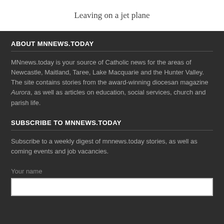Leaving on a jet plane
ABOUT MNNEWS.TODAY
MNnews.today is your source of Catholic news for the areas of Newcastle, Maitland, Taree, Lake Macquarie and the Hunter Valley. The site contains stories from the award-winning diocesan magazine Aurora, as well as articles on education, social services, church and parish life.
SUBSCRIBE TO MNNEWS.TODAY
Subscribe to a weekly digest of mnnews.today stories, as well as coming events and job vacancies.
Your name